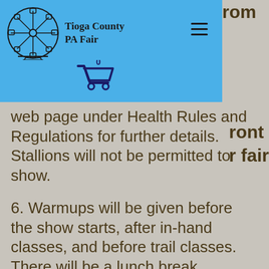Tioga County PA Fair
[Figure (logo): Tioga County PA Fair logo — ferris wheel illustration in circular frame]
web page under Health Rules and Regulations for further details. Stallions will not be permitted to show.
6. Warmups will be given before the show starts, after in-hand classes, and before trail classes. There will be a lunch break announced the